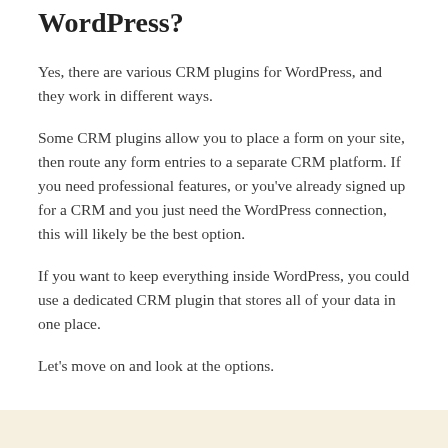WordPress?
Yes, there are various CRM plugins for WordPress, and they work in different ways.
Some CRM plugins allow you to place a form on your site, then route any form entries to a separate CRM platform. If you need professional features, or you've already signed up for a CRM and you just need the WordPress connection, this will likely be the best option.
If you want to keep everything inside WordPress, you could use a dedicated CRM plugin that stores all of your data in one place.
Let's move on and look at the options.
[Figure (other): Beige/tan colored box at the bottom of the page, partial view of a content block]